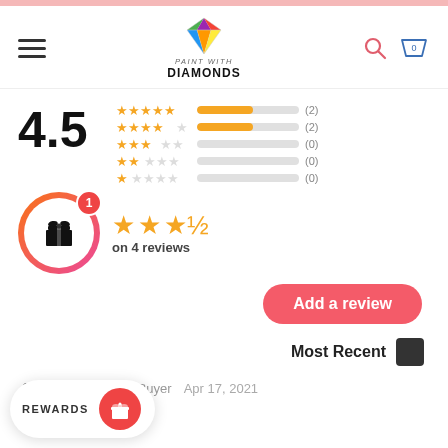[Figure (screenshot): Paint With Diamonds e-commerce website screenshot showing product review section with 4.5 rating, star bars, Add a review button, Most Recent sort, reviewer name and date, and a rewards widget at bottom.]
4.5
on 4 reviews
Add a review
Most Recent
Chloe R. - Verified Buyer
Apr 17, 2021
REWARDS